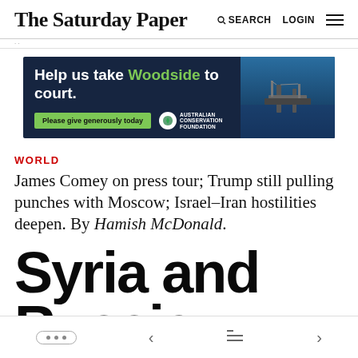The Saturday Paper — SEARCH LOGIN
[Figure (infographic): Australian Conservation Foundation advertisement: 'Help us take Woodside to court. Please give generously today' with ocean oil rig image on dark blue background]
WORLD
James Comey on press tour; Trump still pulling punches with Moscow; Israel–Iran hostilities deepen. By Hamish McDonald.
Syria and Russia dig in over